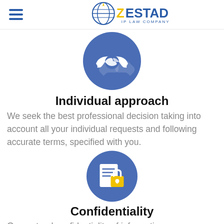ZESTAD IP LAW COMPANY
[Figure (illustration): Blue circle icon with handshake symbol representing individual approach]
Individual approach
We seek the best professional decision taking into account all your individual requests and following accurate terms, specified with you.
[Figure (illustration): Blue circle icon with document and padlock symbol representing confidentiality]
Confidentiality
Guaranteed confidentiality of information.
[Figure (illustration): Partial blue circle icon at bottom of page]